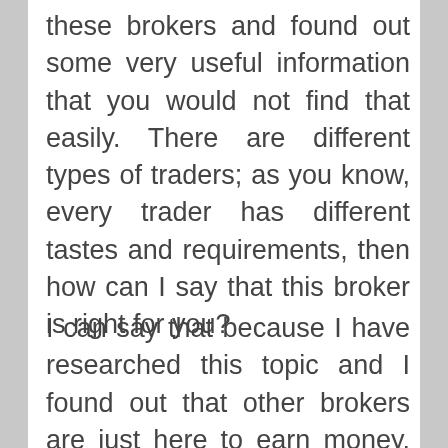these brokers and found out some very useful information that you would not find that easily. There are different types of traders; as you know, every trader has different tastes and requirements, then how can I say that this broker is right for you?
I can say that because I have researched this topic and I found out that other brokers are just here to earn money. As you know, no one in this market is working without earning money. But OrbitGTM is a broker that